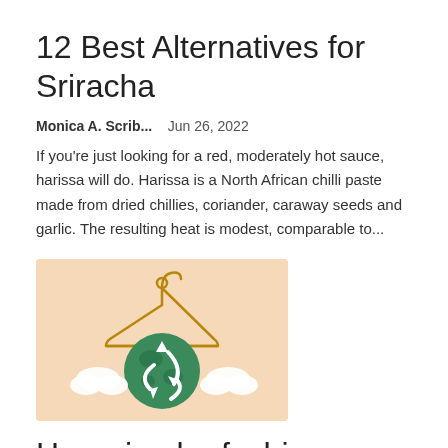12 Best Alternatives for Sriracha
Monica A. Scrib...    Jun 26, 2022
If you're just looking for a red, moderately hot sauce, harissa will do. Harissa is a North African chilli paste made from dried chillies, coriander, caraway seeds and garlic. The resulting heat is modest, comparable to...
[Figure (illustration): Illustration of a clothes hanger over a green earth/globe with recycling symbol, surrounded by white clouds, on a peach/beige background]
How circular fashion can help...